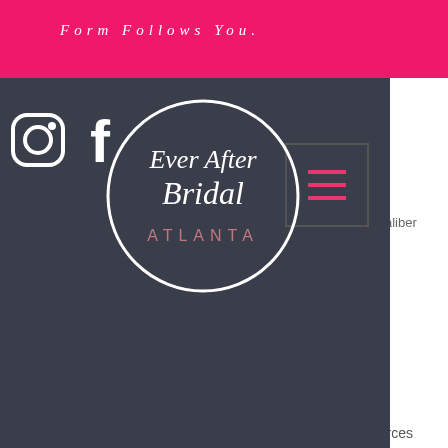FORM FOLLOWS YOU.
[Figure (logo): Ever After Bridal Atlanta logo — circular white outlined logo on dark background with script text and social/hamburger menu icons]
steroids, prohormone cutting stack.
1. Nandrolone Testosterone and DHT
This is the best steroid for a female to use for weight loss, how to lose weight when you're on steroids. Nandrolone testosterone and DHT are used in a manner that results in weight loss for you, how to lose weight when you're on steroids.